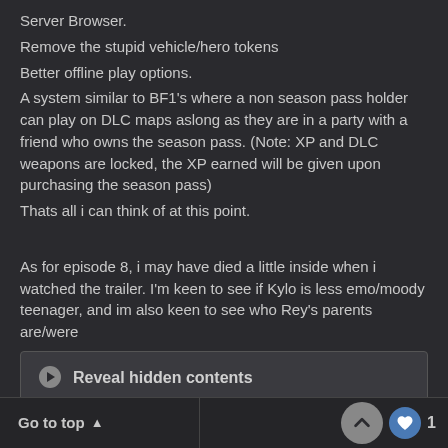Server Browser.
Remove the stupid vehicle/hero tokens
Better offline play options.
A system similar to BF1's where a non season pass holder can play on DLC maps aslong as they are in a party with a friend who owns the season pass. (Note: XP and DLC weapons are locked, the XP earned will be given upon purchasing the season pass)
Thats all i can think of at this point.
As for episode 8, i may have died a little inside when i watched the trailer. I'm keen to see if Kylo is less emo/moody teenager, and im also keen to see who Rey's parents are/were
[Figure (other): Reveal hidden contents button with play icon]
Edited April 17, 2017 by TheLaw
Go to top ↑   1